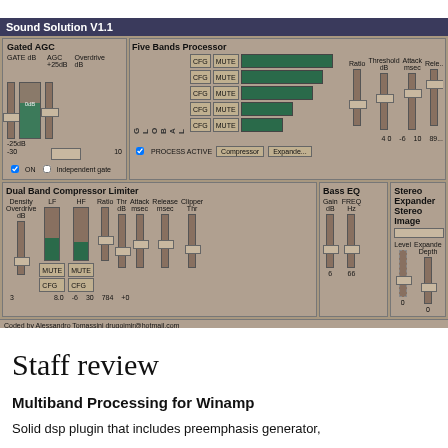[Figure (screenshot): Sound Solution V1.1 audio plugin UI screenshot showing Gated AGC, Five Bands Processor, Dual Band Compressor Limiter, Bass EQ, and Stereo Expander controls with faders, buttons (CFG, MUTE), and meters.]
Staff review
Multiband Processing for Winamp
Solid dsp plugin that includes preemphasis generator,